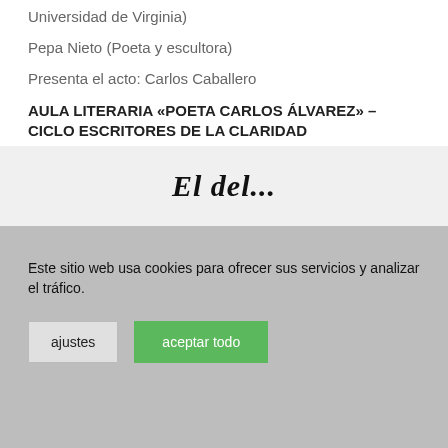Universidad de Virginia)
Pepa Nieto (Poeta y escultora)
Presenta el acto: Carlos Caballero
AULA LITERARIA «POETA CARLOS ÁLVAREZ» – CICLO ESCRITORES DE LA CLARIDAD
[Figure (other): Social media icons: Facebook (dark blue circle with 'f') and Twitter (light blue circle with bird icon)]
[Figure (logo): Newspaper logo in italic serif font, partially visible: 'El del...']
Este sitio web usa cookies para ofrecer sus servicios y analizar el tráfico.
ajustes   aceptar todo